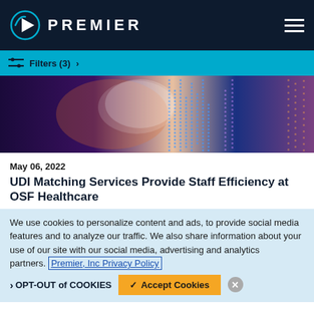PREMIER
Filters (3) >
[Figure (photo): Abstract technology background with colorful data visualization dots and city silhouette bokeh effect in blue, purple, and orange tones.]
May 06, 2022
UDI Matching Services Provide Staff Efficiency at OSF Healthcare
We use cookies to personalize content and ads, to provide social media features and to analyze our traffic. We also share information about your use of our site with our social media, advertising and analytics partners. Premier, Inc Privacy Policy
OPT-OUT of COOKIES
Accept Cookies